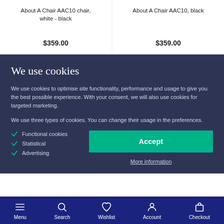About A Chair AAC10 chair, white - black
$359.00
About A Chair AAC10, black
$359.00
We use cookies
We use cookies to optimise site functionality, performance and usage to give you the best possible experience. With your consent, we will also use cookies for targeted marketing.
We use three types of cookies. You can change their usage in the preferences.
Functional cookies
Statistical
Advertising
Accept
More information
Menu  Search  Wishlist  Account  Checkout